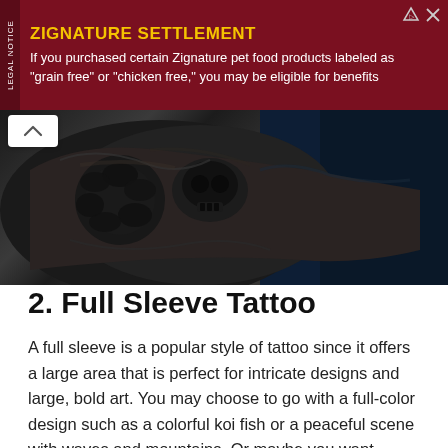[Figure (infographic): Advertisement banner for Zignature Settlement legal notice with dark red/maroon background. Yellow heading 'ZIGNATURE SETTLEMENT' with white body text: 'If you purchased certain Zignature pet food products labeled as "grain free" or "chicken free," you may be eligible for benefits'. Vertical 'LEGAL NOTICE' text on left side.]
[Figure (photo): Close-up photograph of a tattooed arm/hand showing dark black and grey rose and skull tattoo designs against a dark blue background.]
2. Full Sleeve Tattoo
A full sleeve is a popular style of tattoo since it offers a large area that is perfect for intricate designs and large, bold art. You may choose to go with a full-color design such as a colorful koi fish or a peaceful scene with waves and mountains. Or maybe you want something more abstract and black-and-white—a beautiful pattern that circles your arm from top to bottom, and that stands out